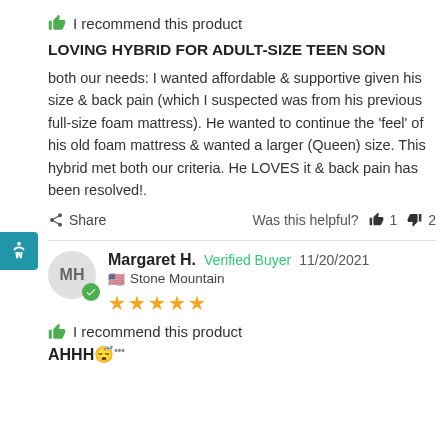I recommend this product
LOVING HYBRID FOR ADULT-SIZE TEEN SON
both our needs: I wanted affordable & supportive given his size & back pain (which I suspected was from his previous full-size foam mattress). He wanted to continue the 'feel' of his old foam mattress & wanted a larger (Queen) size. This hybrid met both our criteria. He LOVES it & back pain has been resolved!.
Share   Was this helpful?  👍 1  👎 2
Margaret H.  Verified Buyer  11/20/2021  Stone Mountain  ★★★★★
I recommend this product
AHHH😴